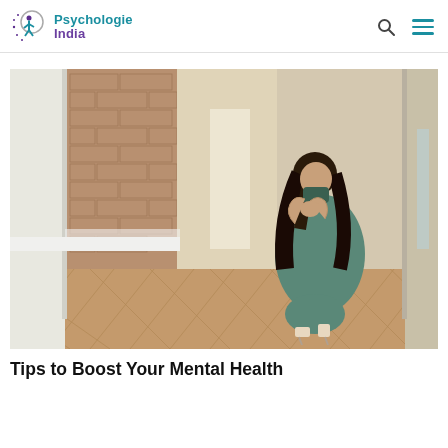Psychologie India
[Figure (photo): A woman wearing a green face mask crouching down on a herringbone wooden floor in an indoor hallway with exposed brick wall, hands clasped together, head bowed in distress or prayer]
Tips to Boost Your Mental Health